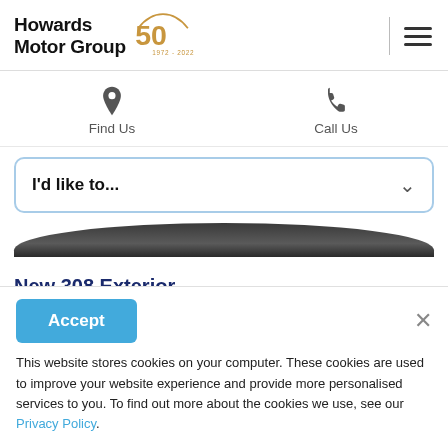[Figure (logo): Howards Motor Group logo with 50th anniversary badge (1972-2022)]
Find Us
Call Us
I'd like to...
New 308 Exterior
The new Peugeot 308 offers a striking bold look at first...
Accept
This website stores cookies on your computer. These cookies are used to improve your website experience and provide more personalised services to you. To find out more about the cookies we use, see our Privacy Policy.